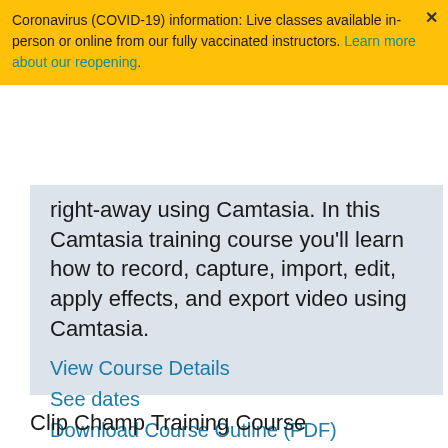Coronavirus (COVID-19) information: Live classes available in-person or online from our fully vaccinated instructors. Learn more about our reopening.
right-away using Camtasia. In this Camtasia training course you'll learn how to record, capture, import, edit, apply effects, and export video using Camtasia.
View Course Details
See dates
Download Course Outline (PDF)
Clip Champ Training Course
Learn video editing with Clip Champ.This